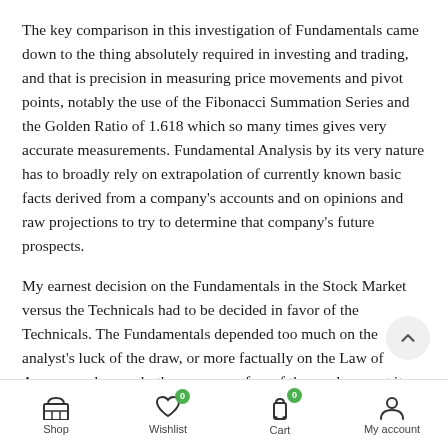The key comparison in this investigation of Fundamentals came down to the thing absolutely required in investing and trading, and that is precision in measuring price movements and pivot points, notably the use of the Fibonacci Summation Series and the Golden Ratio of 1.618 which so many times gives very accurate measurements. Fundamental Analysis by its very nature has to broadly rely on extrapolation of currently known basic facts derived from a company's accounts and on opinions and raw projections to try to determine that company's future prospects.
My earnest decision on the Fundamentals in the Stock Market versus the Technicals had to be decided in favor of the Technicals. The Fundamentals depended too much on the analyst's luck of the draw, or more factually on the Law of Averages where only the very, very few of those who are at its
Shop | Wishlist 0 | Cart 0 | My account